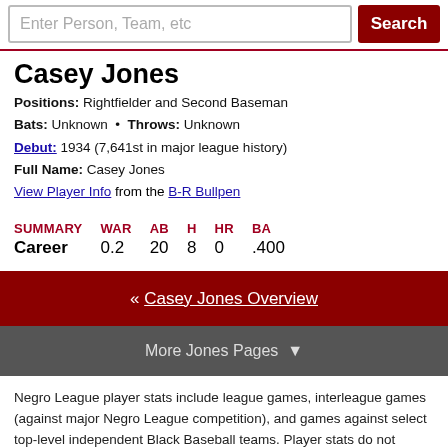Enter Person, Team, etc  Search
Casey Jones
Positions: Rightfielder and Second Baseman
Bats: Unknown • Throws: Unknown
Debut: 1934 (7,641st in major league history)
Full Name: Casey Jones
View Player Info from the B-R Bullpen
| SUMMARY | WAR | AB | H | HR | BA |
| --- | --- | --- | --- | --- | --- |
| Career | 0.2 | 20 | 8 | 0 | .400 |
« Casey Jones Overview
More Jones Pages ▼
Negro League player stats include league games, interleague games (against major Negro League competition), and games against select top-level independent Black Baseball teams. Player stats do not include the